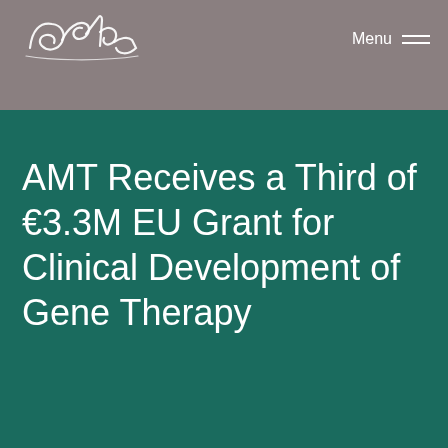[Figure (logo): Gilde Healthcare cursive logo with 'HEALTHCARE' text below in spaced capitals]
Menu
AMT Receives a Third of €3.3M EU Grant for Clinical Development of Gene Therapy